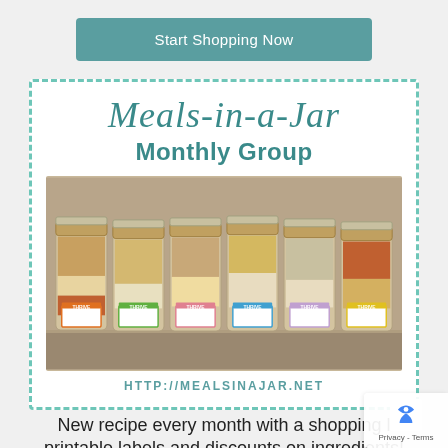Start Shopping Now
[Figure (infographic): Meals-in-a-Jar Monthly Group promotional card with dashed teal border, script title, photo of mason jars with THRIVE labels in various colors, URL http://mealsinajar.net, and tagline text]
New recipe every month with a shopping l... printable labels and discounts on ingredients!